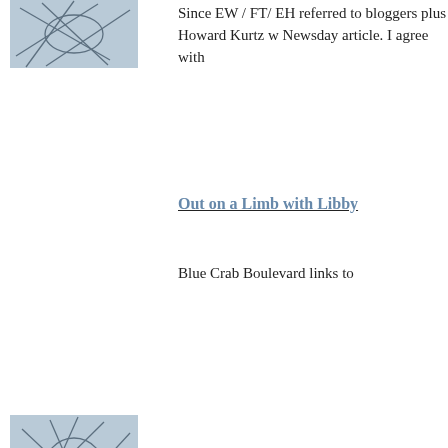[Figure (illustration): Small thumbnail image with network/web line drawing on blue-grey background]
Since EW / FT/ EH referred to bloggers plus Howard Kurtz w Newsday article. I agree with
Out on a Limb with Libby
Blue Crab Boulevard links to
[Figure (illustration): Small thumbnail image with network/web line drawing on blue-grey background]
Check AJStrata's news about
Murtha, Kerry See Defectio
Japan is pulling out by the en recent democrat actions:
"It is not clear whether the Ja protect Okinawa from Murtha get out of Iraq before they we American forces."
AJStrata implied rumors in ot
"In other news, Kerry was run and Annan for the UN peace